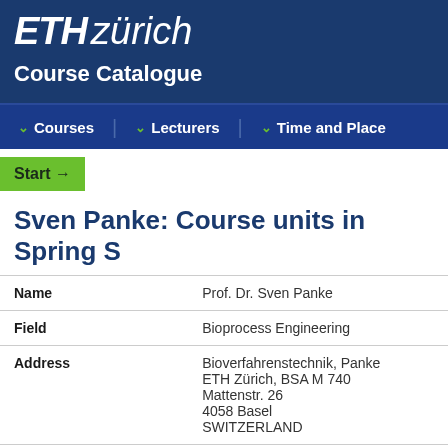[Figure (logo): ETH Zürich logo — white bold italic ETH followed by lighter italic zürich text on dark blue background]
Course Catalogue
Courses | Lecturers | Time and Place
Start →
Sven Panke: Course units in Spring S
|  |  |
| --- | --- |
| Name | Prof. Dr. Sven Panke |
| Field | Bioprocess Engineering |
| Address | Bioverfahrenstechnik, Panke
ETH Zürich, BSA M 740
Mattenstr. 26
4058 Basel
SWITZERLAND |
| Telephone | +41 61 387 32 09 |